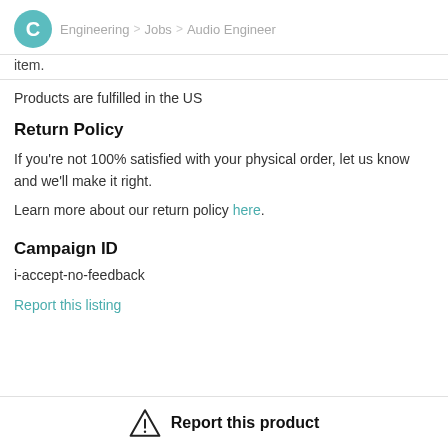C > Engineering > Jobs > Audio Engineer
item.
Products are fulfilled in the US
Return Policy
If you're not 100% satisfied with your physical order, let us know and we'll make it right.
Learn more about our return policy here.
Campaign ID
i-accept-no-feedback
Report this listing
Report this product